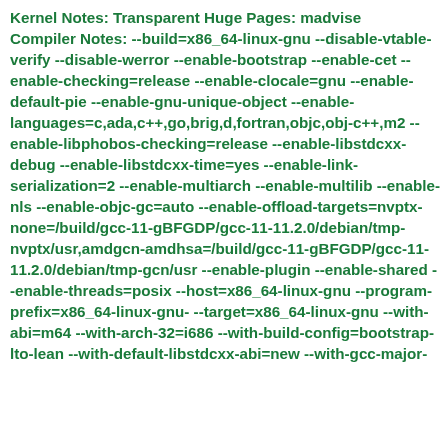Kernel Notes: Transparent Huge Pages: madvise Compiler Notes: --build=x86_64-linux-gnu --disable-vtable-verify --disable-werror --enable-bootstrap --enable-cet --enable-checking=release --enable-clocale=gnu --enable-default-pie --enable-gnu-unique-object --enable-languages=c,ada,c++,go,brig,d,fortran,objc,obj-c++,m2 --enable-libphobos-checking=release --enable-libstdcxx-debug --enable-libstdcxx-time=yes --enable-link-serialization=2 --enable-multiarch --enable-multilib --enable-nls --enable-objc-gc=auto --enable-offload-targets=nvptx-none=/build/gcc-11-gBFGDP/gcc-11-11.2.0/debian/tmp-nvptx/usr,amdgcn-amdhsa=/build/gcc-11-gBFGDP/gcc-11-11.2.0/debian/tmp-gcn/usr --enable-plugin --enable-shared --enable-threads=posix --host=x86_64-linux-gnu --program-prefix=x86_64-linux-gnu- --target=x86_64-linux-gnu --with-abi=m64 --with-arch-32=i686 --with-build-config=bootstrap-lto-lean --with-default-libstdcxx-abi=new --with-gcc-major-